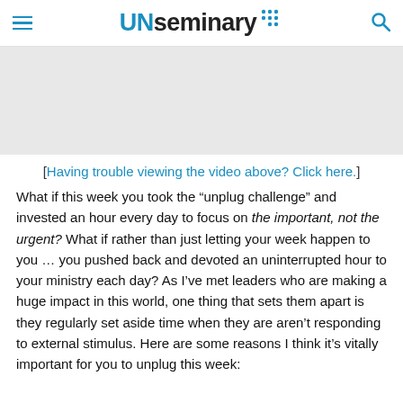UNseminary
[Figure (other): Video embed placeholder area (blank gray rectangle)]
[Having trouble viewing the video above? Click here.]
What if this week you took the “unplug challenge” and invested an hour every day to focus on the important, not the urgent? What if rather than just letting your week happen to you … you pushed back and devoted an uninterrupted hour to your ministry each day? As I’ve met leaders who are making a huge impact in this world, one thing that sets them apart is they regularly set aside time when they are aren’t responding to external stimulus. Here are some reasons I think it’s vitally important for you to unplug this week: